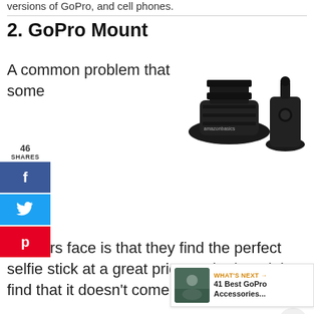versions of GoPro, and cell phones.
2. GoPro Mount
[Figure (photo): Two black GoPro mount accessories on white background, labeled amazonbasics]
A common problem that some shoppers face is that they find the perfect selfie stick at a great price, order it and then find that it doesn't come with a mount.
[Figure (infographic): Social share sidebar with Facebook (f), Twitter (bird), and Pinterest (p) buttons, showing 46 shares]
[Figure (infographic): Right side floating share buttons with heart icon showing 49 saves and share icon]
[Figure (infographic): What's Next banner showing '41 Best GoPro Accessories...' with thumbnail image]